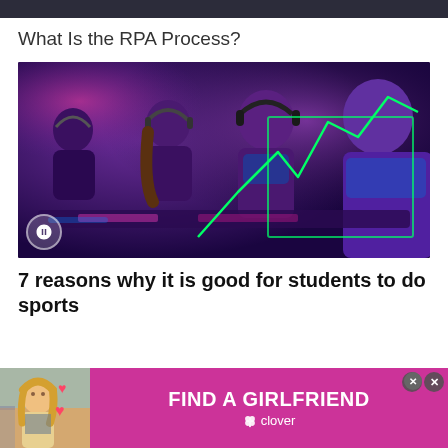What Is the RPA Process?
[Figure (photo): Group of young people wearing headsets sitting at computers in an esports gaming environment with purple/blue lighting and green neon chart overlay graphic]
7 reasons why it is good for students to do sports
[Figure (photo): Advertisement banner: 'FIND A GIRLFRIEND' by Clover app, pink/magenta background, woman photo on left with heart emojis]